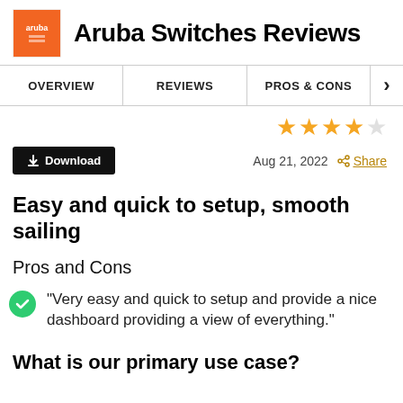Aruba Switches Reviews
OVERVIEW   REVIEWS   PROS & CONS
[Figure (other): 4.5 star rating displayed with filled and empty stars]
Aug 21, 2022  Share
Easy and quick to setup, smooth sailing
Pros and Cons
"Very easy and quick to setup and provide a nice dashboard providing a view of everything."
What is our primary use case?